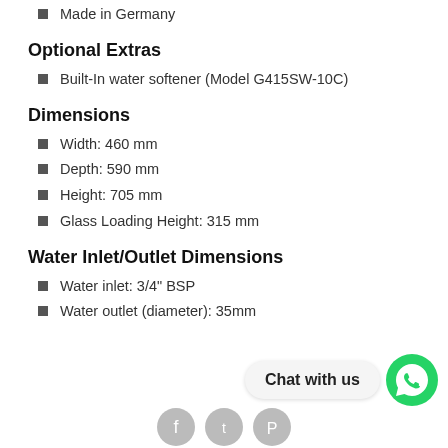Made in Germany
Optional Extras
Built-In water softener (Model G415SW-10C)
Dimensions
Width: 460 mm
Depth: 590 mm
Height: 705 mm
Glass Loading Height: 315 mm
Water Inlet/Outlet Dimensions
Water inlet: 3/4" BSP
Water outlet (diameter): 35mm